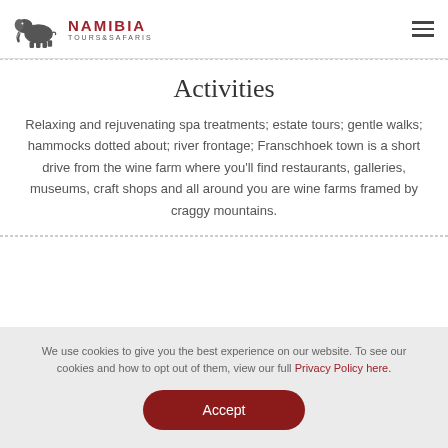Namibia Tours & Safaris
Activities
Relaxing and rejuvenating spa treatments; estate tours; gentle walks; hammocks dotted about; river frontage; Franschhoek town is a short drive from the wine farm where you'll find restaurants, galleries, museums, craft shops and all around you are wine farms framed by craggy mountains.
We use cookies to give you the best experience on our website. To see our cookies and how to opt out of them, view our full Privacy Policy here.
Accept